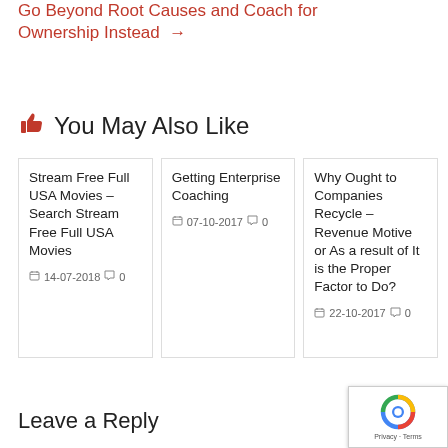Go Beyond Root Causes and Coach for Ownership Instead →
👍 You May Also Like
Stream Free Full USA Movies – Search Stream Free Full USA Movies
14-07-2018  0
Getting Enterprise Coaching
07-10-2017  0
Why Ought to Companies Recycle – Revenue Motive or As a result of It is the Proper Factor to Do?
22-10-2017  0
Leave a Reply